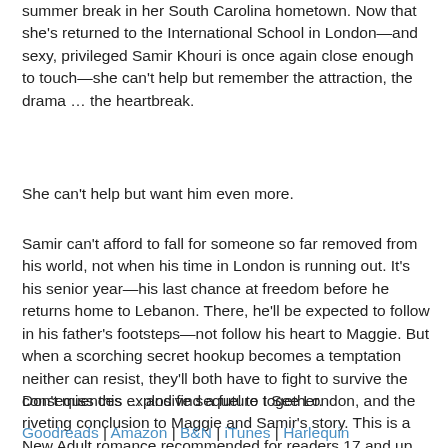summer break in her South Carolina hometown. Now that she's returned to the International School in London—and sexy, privileged Samir Khouri is once again close enough to touch—she can't help but remember the attraction, the drama … the heartbreak.
She can't help but want him even more.
Samir can't afford to fall for someone so far removed from his world, not when his time in London is running out. It's his senior year—his last chance at freedom before he returns home to Lebanon. There, he'll be expected to follow in his father's footsteps—not follow his heart to Maggie. But when a scorching secret hookup becomes a temptation neither can resist, they'll both have to fight to survive the consequences … and find a future together.
Don't miss this explosive sequel to I See London, and the riveting conclusion to Maggie and Samir's story. This is a New Adult romance recommended for readers 17 and up.
Goodreads | Amazon | B&N | iTunes | Harlequin